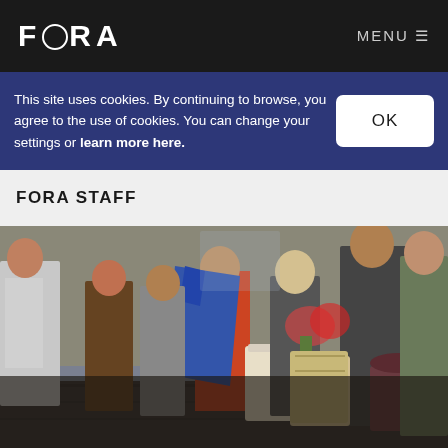FORA   MENU ☰
This site uses cookies. By continuing to browse, you agree to the use of cookies. You can change your settings or learn more here.
FORA STAFF
[Figure (photo): Street scene with shoppers carrying bags walking through what appears to be a shopping arcade or high street. People are bundled in winter coats and carrying large shopping bags including a blue bag. Flowers and plants are visible in the background.]